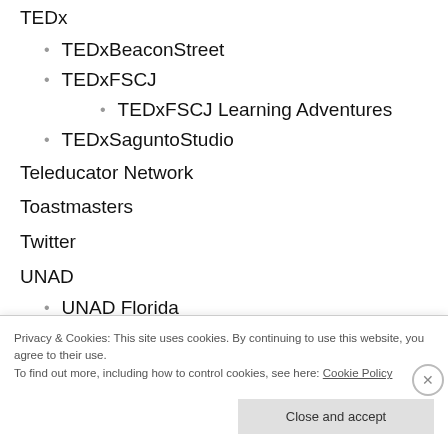TEDx
TEDxBeaconStreet
TEDxFSCJ
TEDxFSCJ Learning Adventures
TEDxSaguntoStudio
Teleducator Network
Toastmasters
Twitter
UNAD
UNAD Florida
Uncategorized
Privacy & Cookies: This site uses cookies. By continuing to use this website, you agree to their use.
To find out more, including how to control cookies, see here: Cookie Policy
Close and accept